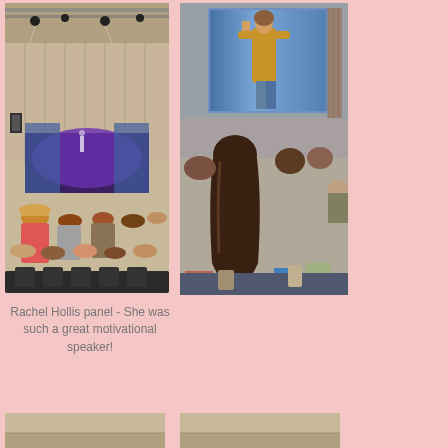[Figure (photo): Wide-angle photo of a large convention hall/auditorium with audience seated, looking toward a stage with purple lighting and a presenter visible on stage. Ceiling trusses with stage lights visible at top.]
[Figure (photo): Close-up photo of audience members from behind, looking toward a large projection screen showing a woman (Rachel Hollis) on stage with a blue background and curtain.]
Rachel Hollis panel - She was such a great motivational speaker!
[Figure (photo): Partial bottom-row photo showing conference/event space, partially cropped.]
[Figure (photo): Partial bottom-row photo showing conference/event space, partially cropped.]